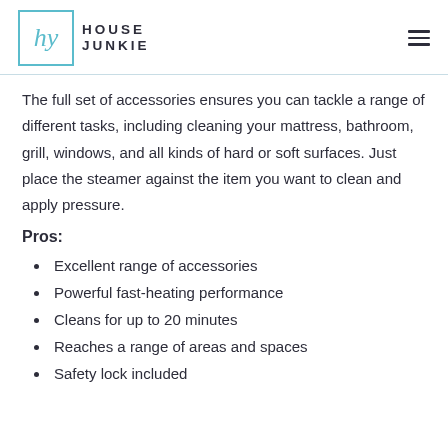HOUSE JUNKIE
The full set of accessories ensures you can tackle a range of different tasks, including cleaning your mattress, bathroom, grill, windows, and all kinds of hard or soft surfaces. Just place the steamer against the item you want to clean and apply pressure.
Pros:
Excellent range of accessories
Powerful fast-heating performance
Cleans for up to 20 minutes
Reaches a range of areas and spaces
Safety lock included